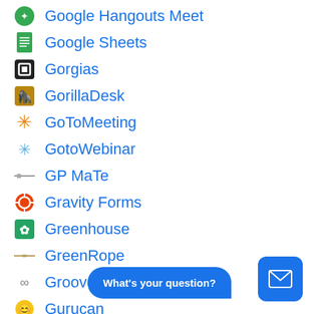Google Hangouts Meet
Google Sheets
Gorgias
GorillaDesk
GoToMeeting
GotoWebinar
GP MaTe
Gravity Forms
Greenhouse
GreenRope
Groove
Gurucan
What's your question?